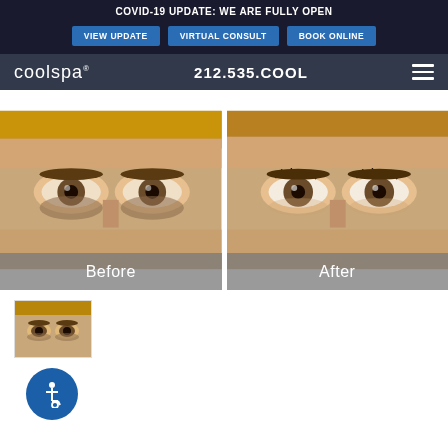COVID-19 UPDATE: WE ARE FULLY OPEN
VIEW UPDATE | VIRTUAL CONSULT | BOOK ONLINE
coolspa® 212.535.COOL
[Figure (photo): Before and after comparison photos showing a woman's eyes and under-eye area. Left panel labeled 'Before', right panel labeled 'After'. After photo shows reduced under-eye darkness.]
[Figure (photo): Small thumbnail of the before/after composite image.]